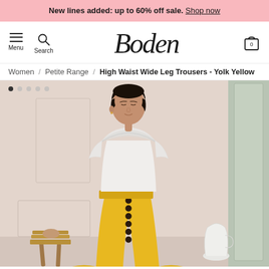New lines added: up to 60% off sale. Shop now
[Figure (screenshot): Boden website navigation bar with hamburger menu, search icon, Boden logo in cursive, and shopping bag icon showing 0 items]
Women / Petite Range / High Waist Wide Leg Trousers - Yolk Yellow
[Figure (photo): Model wearing white ruffled sleeveless top and high-waist wide leg yellow/yolk trousers with dark buttons down the front, standing in a neutral-toned room with a wooden stool and white ceramic vase visible]